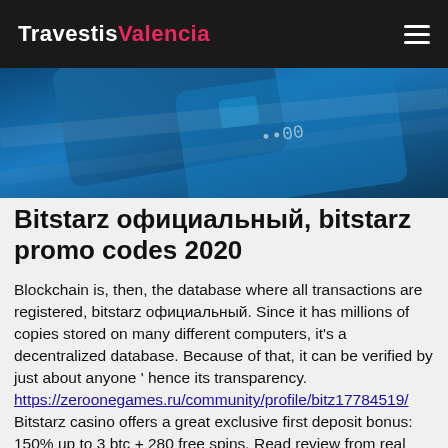TravestisValencia
[Figure (photo): Blue glowing card/chip abstract banner image]
Bitstarz официальный, bitstarz promo codes 2020
Blockchain is, then, the database where all transactions are registered, bitstarz официальный. Since it has millions of copies stored on many different computers, it's a decentralized database. Because of that, it can be verified by just about anyone ' hence its transparency. https://zeroonegames.ru/community/profile/bitz17784519/ Bitstarz casino offers a great exclusive first deposit bonus: 150% up to 3 btc + 280 free spins. Read review from real